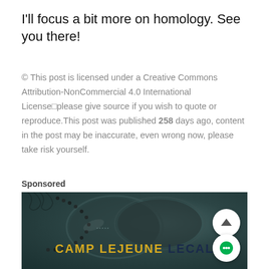I'll focus a bit more on homology. See you there!
© This post is licensed under a Creative Commons Attribution-NonCommercial 4.0 International License—please give source if you wish to quote or reproduce.This post was published 258 days ago, content in the post may be inaccurate, even wrong now, please take risk yourself.
Sponsored
[Figure (photo): Advertisement image showing military dog tags on a dark teal textured background with the text 'CAMP LEJEUNE LEGAL' in bold gold and dark blue letters. Two UI buttons are overlaid: a white circle with an up arrow and a white circle with a green chat icon.]